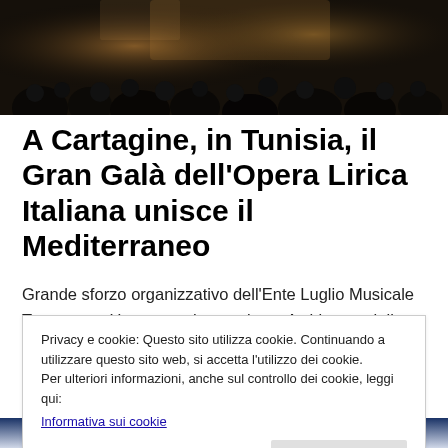[Figure (photo): Dark photo of a concert or opera performance with crowd silhouettes in the foreground and stage lighting in the background.]
A Cartagine, in Tunisia, il Gran Galà dell'Opera Lirica Italiana unisce il Mediterraneo
Grande sforzo organizzativo dell'Ente Luglio Musicale Trapanese. Un sogno che continua. A chiusura della 55a edizione del Festival Internazionale di Cartagine, il Luglio Musicale Trapanese ha portato in scena, ieri sera, al
Privacy e cookie: Questo sito utilizza cookie. Continuando a utilizzare questo sito web, si accetta l'utilizzo dei cookie.
Per ulteriori informazioni, anche sul controllo dei cookie, leggi qui:
Informativa sui cookie
[Figure (photo): Crowd of people at an outdoor event or concert, blue-toned image.]